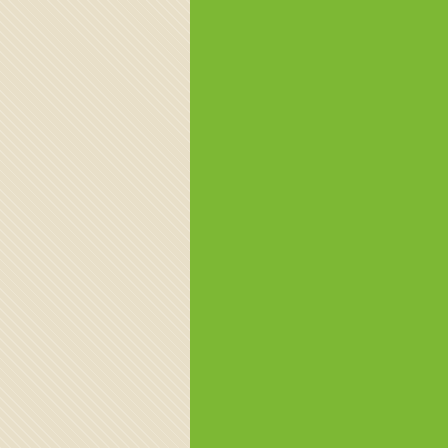[Figure (screenshot): Web page screenshot showing a green-themed blog or forum layout. Left side has a diagonal-striped beige column, center has a large green panel, right side (partially visible) shows comment cards on a dark green background with usernames, dates, and text snippets.]
Em: 14/05
drugstore
Hhswcl
Em: 15/05
ed pills fro
morning a
loansNep
Em: 15/05
magnum c
metabank
loansNep
Em: 15/05